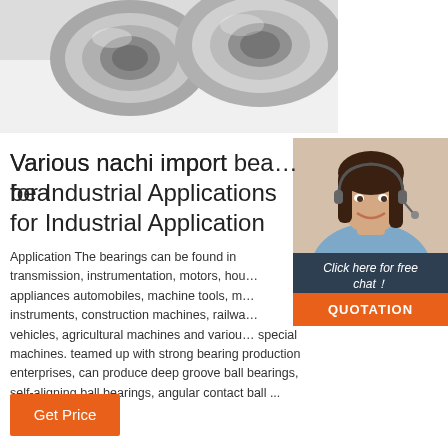[Figure (photo): Close-up photo of metallic ball bearings (nachi import bearings) on white background]
[Figure (photo): 24/7 Online customer service agent - woman with headset smiling, with 'Click here for free chat!' text and QUOTATION button]
Various nachi import bearings for Industrial Applications
Application The bearings can be found in transmission, instrumentation, motors, household appliances automobiles, machine tools, measuring instruments, construction machines, railway vehicles, agricultural machines and various special machines. teamed up with strong bearing production enterprises, can produce deep groove ball bearings, self-aligning ball bearings, angular contact ball ...
[Figure (other): Get Price button in orange]